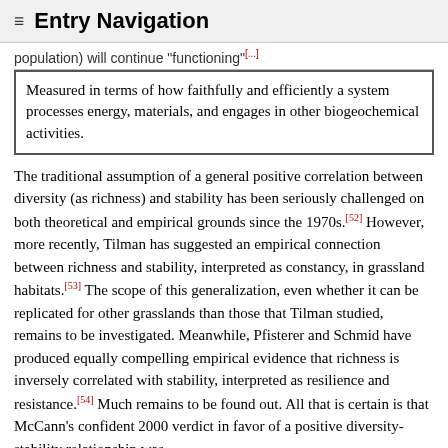≡ Entry Navigation
population) will continue "functioning"[...]
Measured in terms of how faithfully and efficiently a system processes energy, materials, and engages in other biogeochemical activities.
The traditional assumption of a general positive correlation between diversity (as richness) and stability has been seriously challenged on both theoretical and empirical grounds since the 1970s.[52] However, more recently, Tilman has suggested an empirical connection between richness and stability, interpreted as constancy, in grassland habitats.[53] The scope of this generalization, even whether it can be replicated for other grasslands than those that Tilman studied, remains to be investigated. Meanwhile, Pfisterer and Schmid have produced equally compelling empirical evidence that richness is inversely correlated with stability, interpreted as resilience and resistance.[54] Much remains to be found out. All that is certain is that McCann's confident 2000 verdict in favor of a positive diversity-stability relationship was [55] Now finally that originally characterized